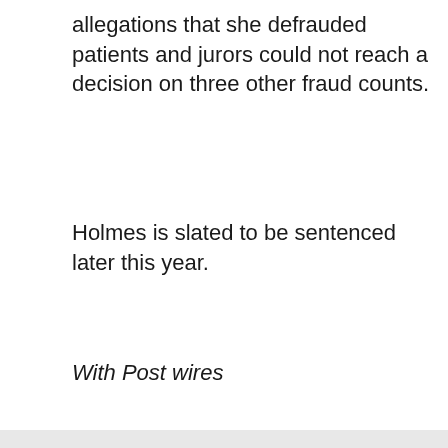allegations that she defrauded patients and jurors could not reach a decision on three other fraud counts.
Holmes is slated to be sentenced later this year.
With Post wires
Business
Davis Riley highlights best bets
Commanders owner Dan Snyder interfered with NFL probe: panel